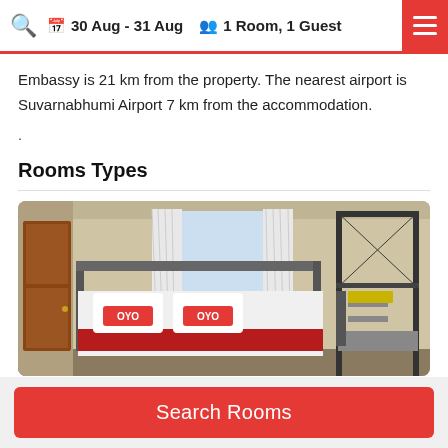30 Aug - 31 Aug  |  1 Room, 1 Guest
Embassy is 21 km from the property. The nearest airport is Suvarnabhumi Airport 7 km from the accommodation.
.
Rooms Types
[Figure (photo): Hotel room photo showing a double bed with OYO branded red pillows and white bedding, a wooden door on the left, white curtains in the background, and a bunk bed frame on the right side.]
Search Rooms